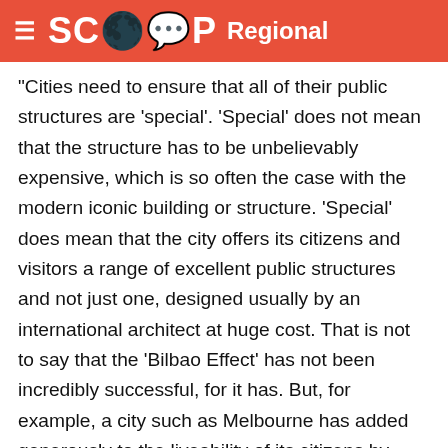SCOOP Regional
"Cities need to ensure that all of their public structures are 'special'. 'Special' does not mean that the structure has to be unbelievably expensive, which is so often the case with the modern iconic building or structure. 'Special' does mean that the city offers its citizens and visitors a range of excellent public structures and not just one, designed usually by an international architect at huge cost. That is not to say that the 'Bilbao Effect' has not been incredibly successful, for it has. But, for example, a city such as Melbourne has added generously to the liveability of its citizens by ensuring that its many public structures are excellent. In doing so it has also raised the level of private sector design resulting in a vibrant and cosmopolitan city.